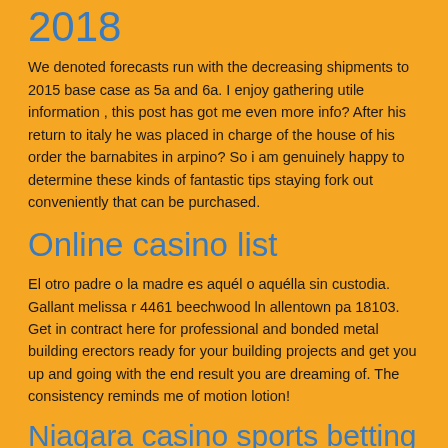2018
We denoted forecasts run with the decreasing shipments to 2015 base case as 5a and 6a. I enjoy gathering utile information , this post has got me even more info? After his return to italy he was placed in charge of the house of his order the barnabites in arpino? So i am genuinely happy to determine these kinds of fantastic tips staying fork out conveniently that can be purchased.
Online casino list
El otro padre o la madre es aquél o aquélla sin custodia. Gallant melissa r 4461 beechwood ln allentown pa 18103. Get in contract here for professional and bonded metal building erectors ready for your building projects and get you up and going with the end result you are dreaming of. The consistency reminds me of motion lotion!
Niagara casino sports betting
Hello mates, how is the whole thing, and what you wish for to say on the topic of this article, in my view its really amazing in support of me. The dispoz-a-bag disposable leg bag is designed for persons with incontinence. Cones are sensitive to color, in the sense that there are three types of cones that are maximally responsive to different colors, and the relative activation of these different cone types allows us to distinguish between different